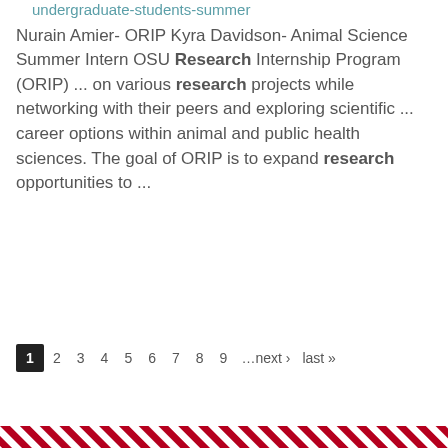undergraduate-students-summer
Nurain Amier- ORIP Kyra Davidson- Animal Science Summer Intern OSU Research Internship Program (ORIP) ... on various research projects while networking with their peers and exploring scientific ... career options within animal and public health sciences. The goal of ORIP is to expand research opportunities to ...
1 2 3 4 5 6 7 8 9 …next › last »